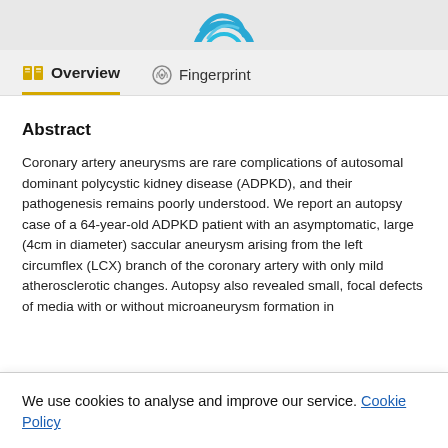[Figure (logo): Partial view of a teal/blue circular logo at the top of the page]
Overview
Fingerprint
Abstract
Coronary artery aneurysms are rare complications of autosomal dominant polycystic kidney disease (ADPKD), and their pathogenesis remains poorly understood. We report an autopsy case of a 64-year-old ADPKD patient with an asymptomatic, large (4cm in diameter) saccular aneurysm arising from the left circumflex (LCX) branch of the coronary artery with only mild atherosclerotic changes. Autopsy also revealed small, focal defects of media with or without microaneurysm formation in
We use cookies to analyse and improve our service. Cookie Policy